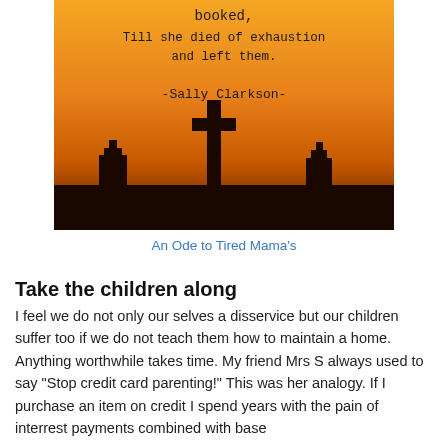[Figure (photo): Orange sunset sky with silhouetted cemetery crosses and ground. Overlaid monospace text reads: 'booked, Till she died of exhaustion and left them. -Sally Clarkson-']
An Ode to Tired Mama's
Take the children along
I feel we do not only our selves a disservice but our children suffer too if we do not teach them how to maintain a home. Anything worthwhile takes time. My friend Mrs S always used to say "Stop credit card parenting!" This was her analogy. If I purchase an item on credit I spend years with the pain of interrest payments combined with base